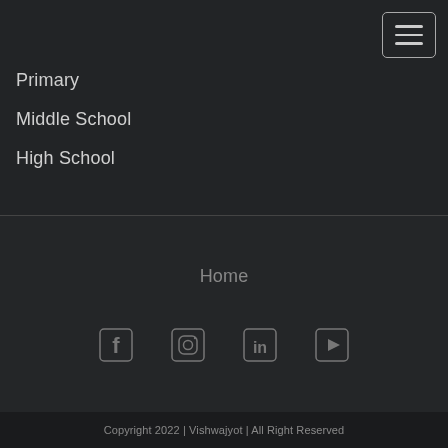Primary
Middle School
High School
Home
[Figure (infographic): Social media icons: Facebook, Instagram, LinkedIn, YouTube]
Copyright 2022 | Vishwajyot | All Right Reserved